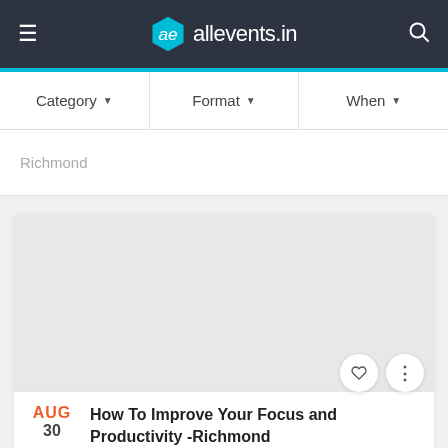ae allevents.in
Category ▼   Format ▼   When ▼
Richmond
[Figure (screenshot): Gray placeholder image for event card]
AUG 30  How To Improve Your Focus and Productivity -Richmond